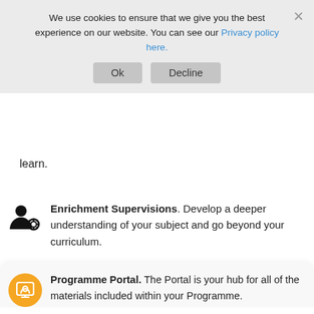We use cookies to ensure that we give you the best experience on our website. You can see our Privacy policy here.
Ok   Decline
learn.
Enrichment Supervisions. Develop a deeper understanding of your subject and go beyond your curriculum.
Programme Portal. The Portal is your hub for all of the materials included within your Programme.